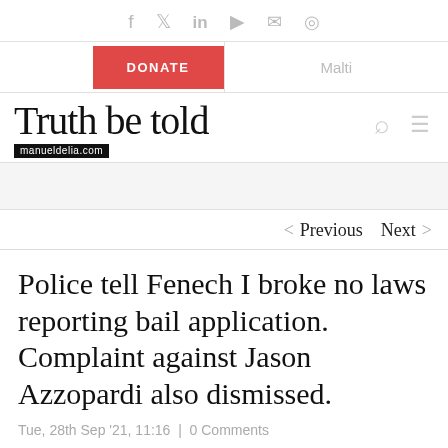f  y  in  ▶  ✉  ◎
DONATE | Malti
Truth be told — manueldelia.com
< Previous   Next >
Police tell Fenech I broke no laws reporting bail application. Complaint against Jason Azzopardi also dismissed.
Tue, 28th Sep '21, 11:16 | 0 Comments